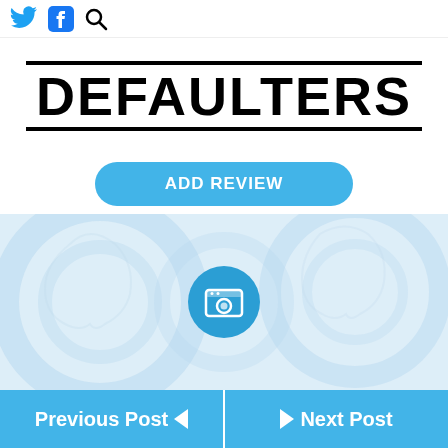Twitter Facebook Search icons
DEFAULTERS
ADD REVIEW
[Figure (screenshot): Light blue placeholder area with faint ghost/browser watermark icons in background and a blue circular camera icon in the center]
Previous Post | Next Post